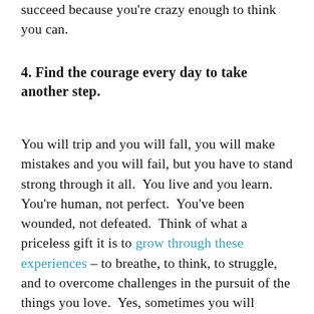succeed because you're crazy enough to think you can.
4.  Find the courage every day to take another step.
You will trip and you will fall, you will make mistakes and you will fail, but you have to stand strong through it all.  You live and you learn.  You're human, not perfect.  You've been wounded, not defeated.  Think of what a priceless gift it is to grow through these experiences – to breathe, to think, to struggle, and to overcome challenges in the pursuit of the things you love.  Yes, sometimes you will encounter heartache along the way, but that's a small price to pay for immeasurable moments of love and joy